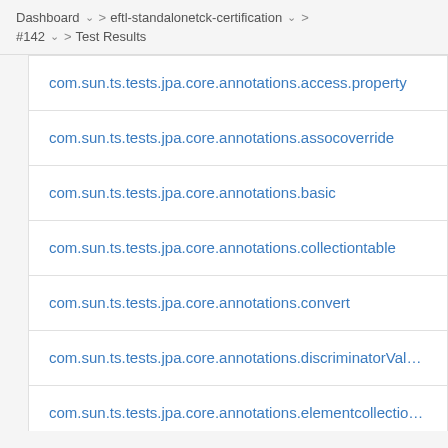Dashboard > eftl-standalonetck-certification > #142 > Test Results
com.sun.ts.tests.jpa.core.annotations.access.property
com.sun.ts.tests.jpa.core.annotations.assocoverride
com.sun.ts.tests.jpa.core.annotations.basic
com.sun.ts.tests.jpa.core.annotations.collectiontable
com.sun.ts.tests.jpa.core.annotations.convert
com.sun.ts.tests.jpa.core.annotations.discriminatorValue
com.sun.ts.tests.jpa.core.annotations.elementcollection